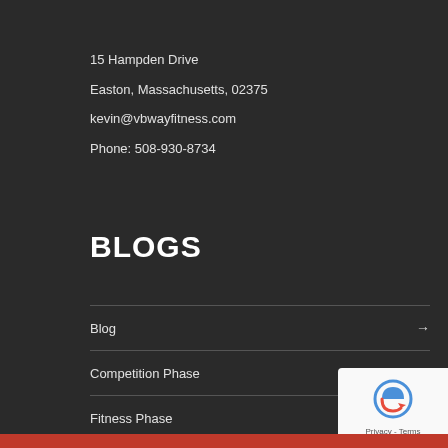15 Hampden Drive
Easton, Massachusetts, 02375
kevin@vbwayfitness.com
Phone: 508-930-8734
BLOGS
Blog
Competition Phase
Fitness Phase
Home Page VB of Month
Kids Workouts
Lifestyle Phase
Muscle-Up